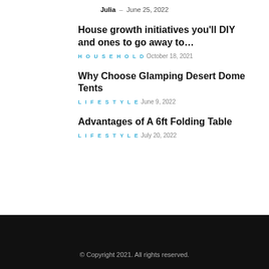Julia – June 25, 2022
House growth initiatives you'll DIY and ones to go away to…
HOUSEHOLD October 18, 2021
Why Choose Glamping Desert Dome Tents
LIFESTYLE June 9, 2022
Advantages of A 6ft Folding Table
LIFESTYLE July 20, 2022
© Copyright 2021. All rights reserved.